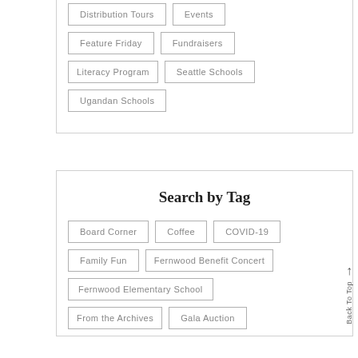Distribution Tours
Events
Feature Friday
Fundraisers
Literacy Program
Seattle Schools
Ugandan Schools
Search by Tag
Board Corner
Coffee
COVID-19
Family Fun
Fernwood Benefit Concert
Fernwood Elementary School
From the Archives
Gala Auction